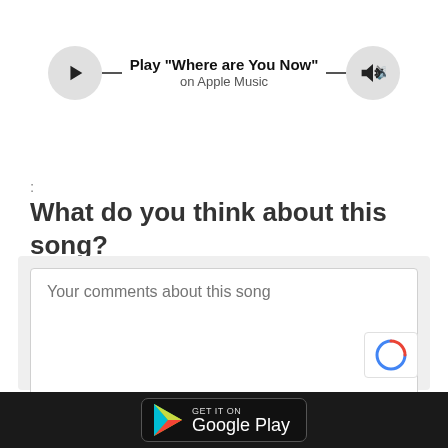[Figure (screenshot): Music player bar with play button, 'Play "Where are You Now"' title, 'on Apple Music' subtitle, and volume button connected by a horizontal line]
:
What do you think about this song?
[Figure (screenshot): Comment form with textarea placeholder 'Your comments about this song' and name input placeholder 'Your Name']
[Figure (screenshot): Google Play 'GET IT ON Google Play' badge in dark footer bar]